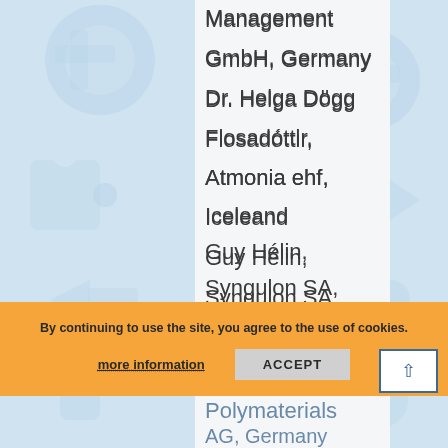Management
GmbH, Germany
Dr. Helga Dögg
Flosadóttir,
Atmonia ehf,
Iceleand
Guy Hélin,
Syngulon SA,
Belgium
Dr. Christian
Jung,
Polymaterials
AG, Germany
Rob van der Moij
By continuing to use the site, you agree to the use of cookies.
more information
ACCEPT